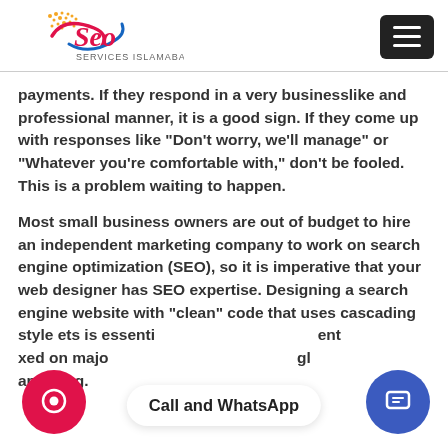SEO Services Islamabad
payments. If they respond in a very businesslike and professional manner, it is a good sign. If they come up with responses like “Don’t worry, we’ll manage” or “Whatever you’re comfortable with,” don’t be fooled. This is a problem waiting to happen.
Most small business owners are out of budget to hire an independent marketing company to work on search engine optimization (SEO), so it is imperative that your web designer has SEO expertise. Designing a search engine website with “clean” code that uses cascading style sheets is essential to getting your content indexed on major search engines like Google and Bing.